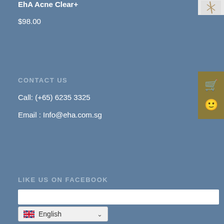EhA Acne Clear+
$98.00
CONTACT US
Call: (+65) 6235 3325
Email : Info@eha.com.sg
LIKE US ON FACEBOOK
English